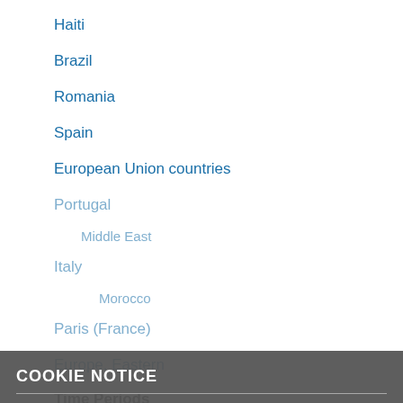Haiti
Brazil
Romania
Spain
European Union countries
Portugal
Middle East
Italy
Morocco
Paris (France)
Europe, Eastern
Time Periods
COOKIE NOTICE
We use cookies on this site to enhance your experience and improve our library services. By continuing to browse without changing your browser settings to block or delete cookies, you agree to the storing of cookies and related technologies on your device. UW–Madison Privacy Notice
GOT IT!